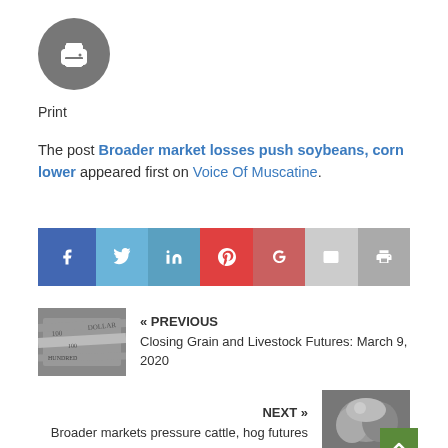[Figure (logo): Gray circular print icon with printer symbol in white]
Print
The post Broader market losses push soybeans, corn lower appeared first on Voice Of Muscatine.
[Figure (infographic): Social media sharing bar with Facebook, Twitter, LinkedIn, Pinterest, Google+, Email, and Print buttons]
[Figure (photo): Previous article thumbnail showing US dollar bills]
« PREVIOUS
Closing Grain and Livestock Futures: March 9, 2020
NEXT »
Broader markets pressure cattle, hog futures
[Figure (photo): Next article thumbnail showing cattle/hogs in grayscale]